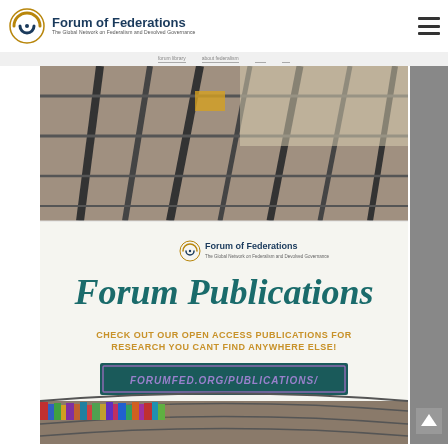Forum of Federations – The Global Network on Federalism and Devolved Governance
[Figure (screenshot): Forum Publications promotional banner with library background images. Top half shows bookshelves from below. Center white panel shows Forum of Federations logo, 'Forum Publications' in large italic teal text, 'CHECK OUT OUR OPEN ACCESS PUBLICATIONS FOR RESEARCH YOU CANT FIND ANYWHERE ELSE!' in gold bold caps, and a teal/purple bordered box with 'FORUMFED.ORG/PUBLICATIONS/' in italic purple text. Bottom half shows circular curved library bookshelves.]